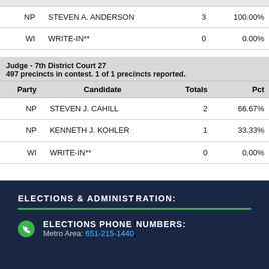| Party | Candidate | Totals | Pct |
| --- | --- | --- | --- |
| NP | STEVEN A. ANDERSON | 3 | 100.00% |
| WI | WRITE-IN** | 0 | 0.00% |
| Party | Candidate | Totals | Pct |
| --- | --- | --- | --- |
| NP | STEVEN J. CAHILL | 2 | 66.67% |
| NP | KENNETH J. KOHLER | 1 | 33.33% |
| WI | WRITE-IN** | 0 | 0.00% |
ELECTIONS & ADMINISTRATION:
ELECTIONS PHONE NUMBERS:
Metro Area: 651-215-1440